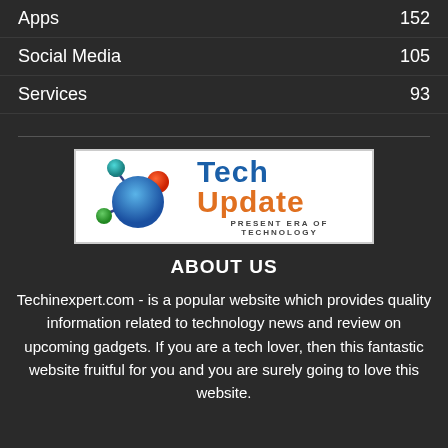Apps 152
Social Media 105
Services 93
[Figure (logo): Tech Update logo — molecule/network graphic on left, bold text 'TECH UPDATE' with subtitle 'PRESENT ERA OF TECHNOLOGY']
ABOUT US
Techinexpert.com - is a popular website which provides quality information related to technology news and review on upcoming gadgets. If you are a tech lover, then this fantastic website fruitful for you and you are surely going to love this website.